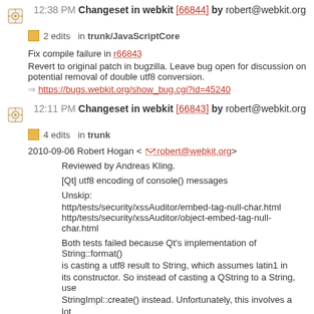12:38 PM Changeset in webkit [66844] by robert@webkit.org
2 edits in trunk/JavaScriptCore
Fix compile failure in r66843
Revert to original patch in bugzilla. Leave bug open for discussion on potential removal of double utf8 conversion.
=> https://bugs.webkit.org/show_bug.cgi?id=45240
12:11 PM Changeset in webkit [66843] by robert@webkit.org
4 edits in trunk
2010-09-06 Robert Hogan <robert@webkit.org>

Reviewed by Andreas Kling.

[Qt] utf8 encoding of console() messages

Unskip:
http/tests/security/xssAuditor/embed-tag-null-char.html
http/tests/security/xssAuditor/object-embed-tag-null-char.html

Both tests failed because Qt's implementation of String::format()
is casting a utf8 result to String, which assumes latin1 in its constructor. So instead of casting a QString to a String, use
StringImpl::create() instead. Unfortunately, this involves a lot